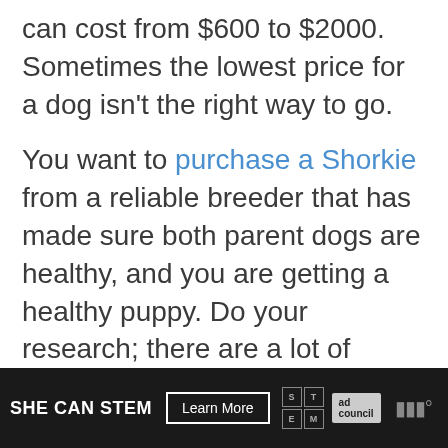can cost from $600 to $2000. Sometimes the lowest price for a dog isn't the right way to go.
You want to purchase a Shorkie from a reliable breeder that has made sure both parent dogs are healthy, and you are getting a healthy puppy. Do your research; there are a lot of breeders out there, and you will find the perfect one for you and your family.
SHE CAN STEM  Learn More  ad council